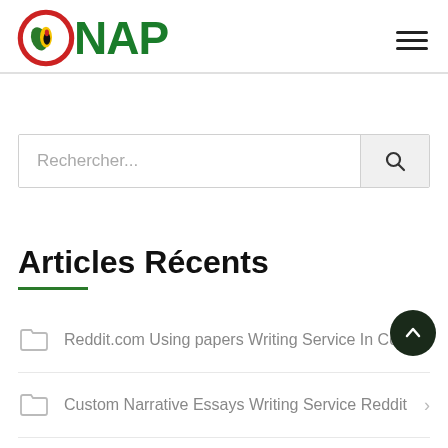[Figure (logo): ONAP logo with stylized flame/oil drop icon and green NAP text]
Rechercher...
Articles Récents
Reddit.com Using papers Writing Service In Colle >
Custom Narrative Essays Writing Service Reddit >